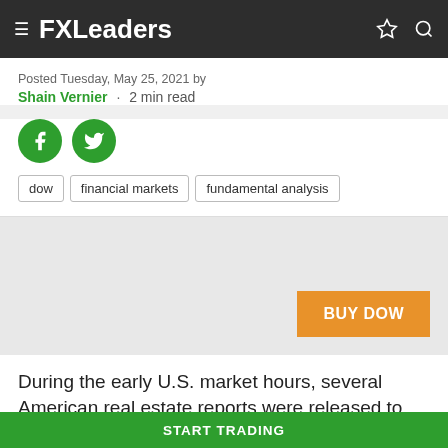FXLeaders
Posted Tuesday, May 25, 2021 by Shain Vernier · 2 min read
[Figure (other): Facebook and Twitter social share icons (green circles)]
dow
financial markets
fundamental analysis
[Figure (other): Gray banner area with orange BUY DOW button]
During the early U.S. market hours, several American real estate reports were released to the public. Among
START TRADING